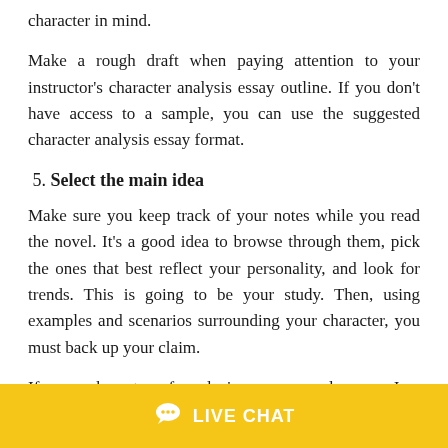character in mind.
Make a rough draft when paying attention to your instructor's character analysis essay outline. If you don't have access to a sample, you can use the suggested character analysis essay format.
5. Select the main idea
Make sure you keep track of your notes while you read the novel. It's a good idea to browse through them, pick the ones that best reflect your personality, and look for trends. This is going to be your study. Then, using examples and scenarios surrounding your character, you must back up your claim.
If your character of analysis essay sample were Jem Finch from Harper Lee's "To Kill a Mockingbird," the key concept would be how racial tensions social
[Figure (other): Yellow live chat bar with speech bubble icon and LIVE CHAT text]